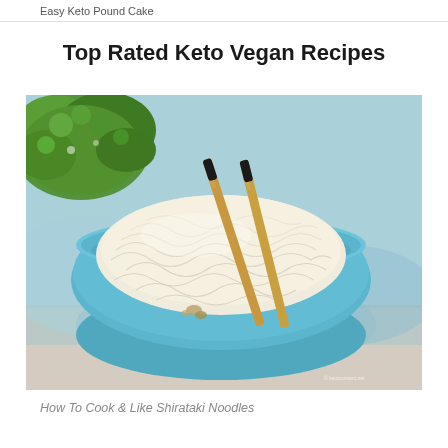Easy Keto Pound Cake
Top Rated Keto Vegan Recipes
[Figure (photo): A blue ceramic bowl filled with white shirataki noodles, chopsticks resting inside the bowl, green curly parsley in the top left, light blue fabric/cloth in background, wooden surface, small watermark in bottom right corner.]
How To Cook & Like Shirataki Noodles